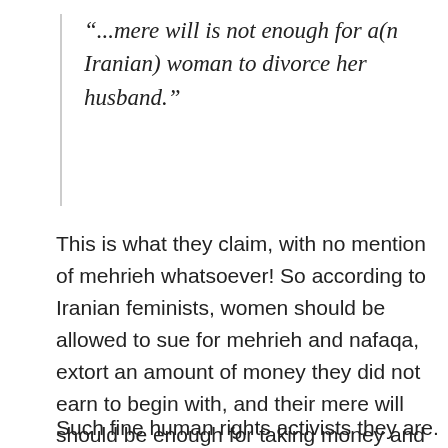“...mere will is not enough for a(n Iranian) woman to divorce her husband.”
This is what they claim, with no mention of mehrieh whatsoever! So according to Iranian feminists, women should be allowed to sue for mehrieh and nafaqa, extort an amount of money they did not earn to begin with, and their mere will should be enough for taking money and ending the marriage.
Such fine human rights activists they are. Men